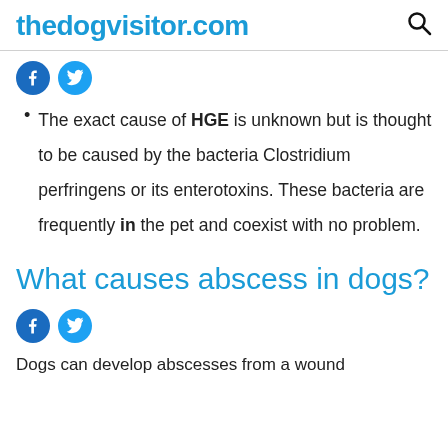thedogvisitor.com
[Figure (other): Facebook and Twitter social share icons]
The exact cause of HGE is unknown but is thought to be caused by the bacteria Clostridium perfringens or its enterotoxins. These bacteria are frequently in the pet and coexist with no problem.
What causes abscess in dogs?
[Figure (other): Facebook and Twitter social share icons]
Dogs can develop abscesses from a wound